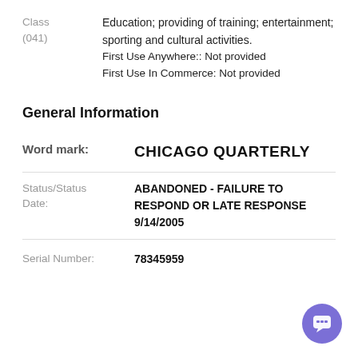Class (041)
Education; providing of training; entertainment; sporting and cultural activities.
First Use Anywhere:: Not provided
First Use In Commerce: Not provided
General Information
Word mark: CHICAGO QUARTERLY
Status/Status Date: ABANDONED - FAILURE TO RESPOND OR LATE RESPONSE 9/14/2005
Serial Number: 78345959